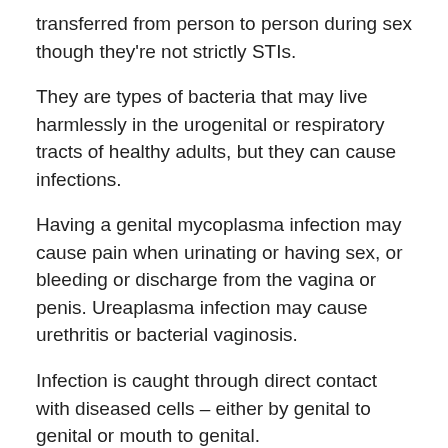transferred from person to person during sex though they're not strictly STIs.
They are types of bacteria that may live harmlessly in the urogenital or respiratory tracts of healthy adults, but they can cause infections.
Having a genital mycoplasma infection may cause pain when urinating or having sex, or bleeding or discharge from the vagina or penis. Ureaplasma infection may cause urethritis or bacterial vaginosis.
Infection is caught through direct contact with diseased cells – either by genital to genital or mouth to genital.
Scientists say understanding the presence of bacteria during pregnancy could help develop more targeted